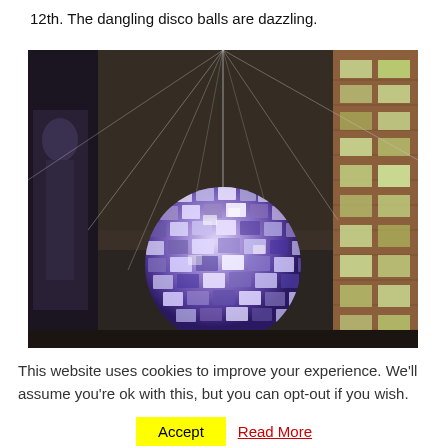12th. The dangling disco balls are dazzling.
[Figure (photo): Night-time upward view of a large disco ball hanging between buildings in a city street, with thin wires radiating outward against a dark sky. A multi-storey brick building with lit windows is visible on the right, and a partial sculpture or poster is visible on the left.]
This website uses cookies to improve your experience. We'll assume you're ok with this, but you can opt-out if you wish.
Accept   Read More